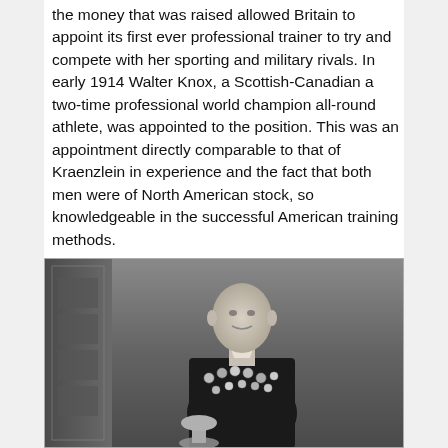the money that was raised allowed Britain to appoint its first ever professional trainer to try and compete with her sporting and military rivals. In early 1914 Walter Knox, a Scottish-Canadian a two-time professional world champion all-round athlete, was appointed to the position. This was an appointment directly comparable to that of Kraenzlein in experience and the fact that both men were of North American stock, so knowledgeable in the successful American training methods.
[Figure (photo): Black and white historical photograph of a man in formal attire displaying numerous medals on his chest, with a trophy or cup visible at the bottom of the frame. The background shows a partial view of a decorated panel or bookcase on the left side.]